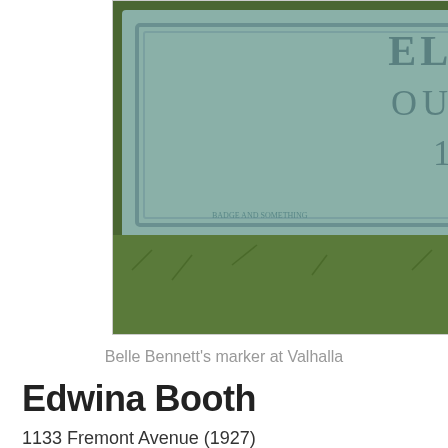[Figure (photo): A grave marker stone at Valhalla cemetery. The marker reads 'OUR DARLING' and '1892 - 1932' on a teal/green stone surface surrounded by grass.]
Belle Bennett's marker at Valhalla
Edwina Booth
1133 Fremont Avenue (1927)